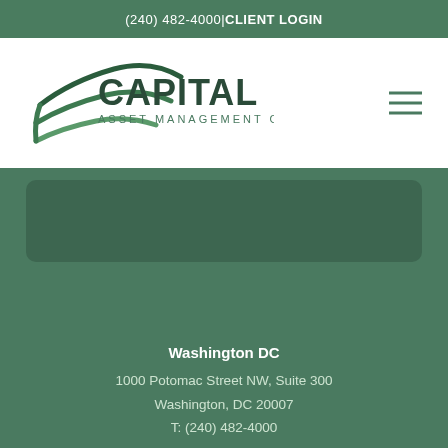(240) 482-4000 | CLIENT LOGIN
[Figure (logo): Capital Asset Management Group logo with green swoosh/feather graphic and dark green text]
Washington DC
1000 Potomac Street NW, Suite 300
Washington, DC 20007
T: (240) 482-4000